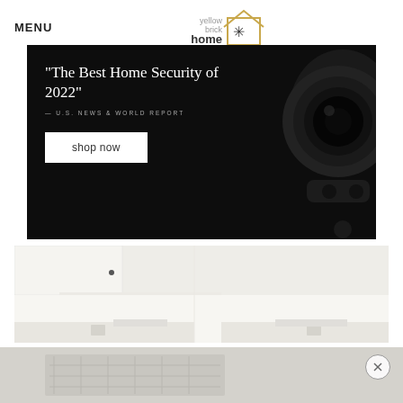MENU | yellow brick home
[Figure (photo): Dark advertisement banner with security camera on right side. Text reads: "The Best Home Security of 2022" — U.S. NEWS & WORLD REPORT, with a 'shop now' button.]
[Figure (photo): White kitchen interior showing cabinets with black hardware, a range hood, and countertops.]
[Figure (photo): Partial view of kitchen counter/cooktop area at bottom of page.]